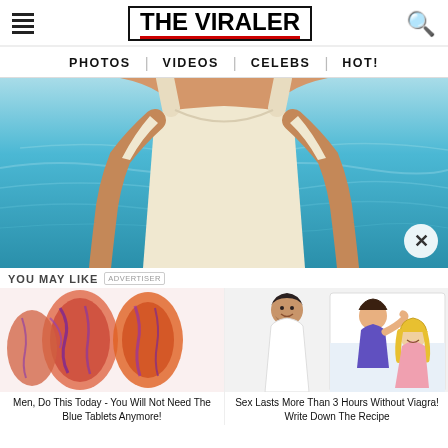THE VIRALER
PHOTOS | VIDEOS | CELEBS | HOT!
[Figure (photo): Woman in white tank top standing in front of turquoise water/pool, torso shot]
YOU MAY LIKE
[Figure (photo): Medical illustration of anatomy in red/orange tones]
Men, Do This Today - You Will Not Need The Blue Tablets Anymore!
[Figure (photo): Doctor smiling next to cartoon illustration of couple in bed]
Sex Lasts More Than 3 Hours Without Viagra! Write Down The Recipe